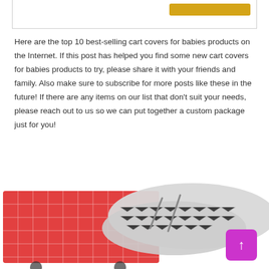Here are the top 10 best-selling cart covers for babies products on the Internet. If this post has helped you find some new cart covers for babies products to try, please share it with your friends and family. Also make sure to subscribe for more posts like these in the future! If there are any items on our list that don’t suit your needs, please reach out to us so we can put together a custom package just for you!
[Figure (photo): Photo of a red shopping cart with a gray chevron-patterned baby cart cover draped over it]